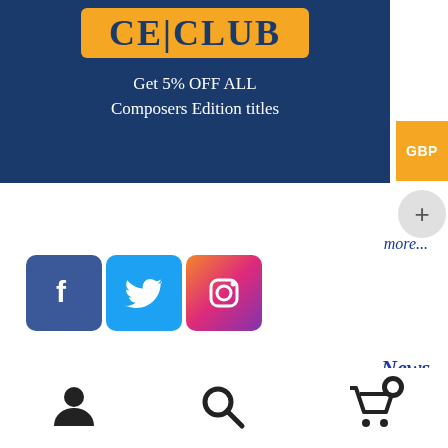[Figure (logo): CE Club promotional banner on dark blue background with orange logo badge reading 'CE|CLUB' and white text 'Get 5% OFF ALL Composers Edition titles']
GBP
+
more...
[Figure (illustration): Row of three social media icons: Facebook (blue), Twitter (light blue), Instagram (gradient)]
News